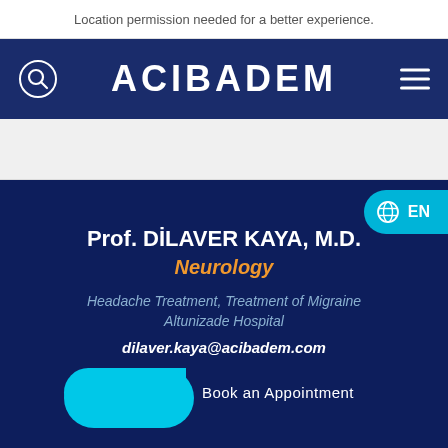Location permission needed for a better experience.
[Figure (logo): ACIBADEM hospital logo in white on navy background, with search icon on left and hamburger menu on right]
[Figure (screenshot): White/light grey gap area below header navigation]
Prof. DİLAVER KAYA, M.D.
Neurology
Headache Treatment, Treatment of Migraine
Altunizade Hospital
dilaver.kaya@acibadem.com
Book an Appointment